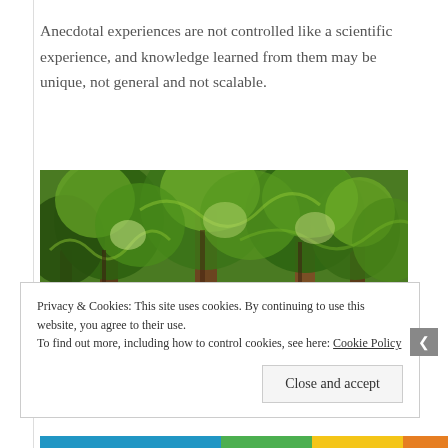Anecdotal experiences are not controlled like a scientific experience, and knowledge learned from them may be unique, not general and not scalable.
[Figure (photo): A painterly or digitally stylized photograph of a dense forest with tall green trees, swirling foliage texture, and hints of brown tree trunks.]
Privacy & Cookies: This site uses cookies. By continuing to use this website, you agree to their use.
To find out more, including how to control cookies, see here: Cookie Policy